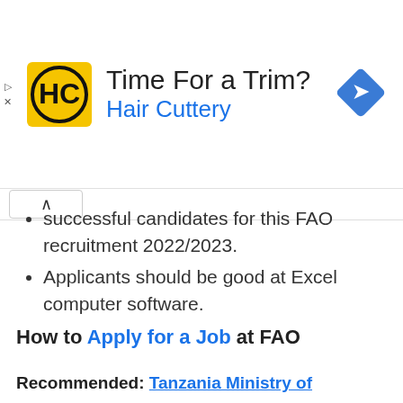[Figure (infographic): Hair Cuttery advertisement banner with yellow HC logo, text 'Time For a Trim?' and 'Hair Cuttery' in blue, and a blue navigation diamond icon on the right]
successful candidates for this FAO recruitment 2022/2023.
Applicants should be good at Excel computer software.
How to Apply for a Job at FAO
Recommended:  Tanzania Ministry of